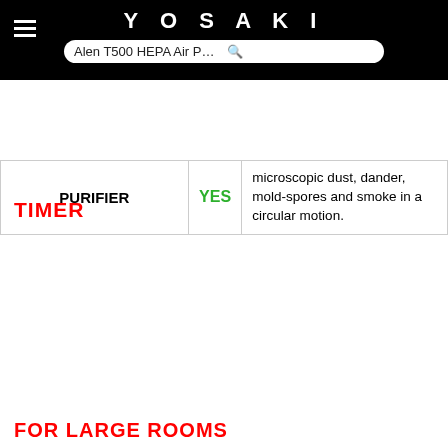YOSAKI | Search: Alen T500 HEPA Air Purifier-vs-KOIOS La
| Product | Yes/No | Description |
| --- | --- | --- |
| PURIFIER | YES | microscopic dust, dander, mold-spores and smoke in a circular motion. |
TIMER
| Product | Yes/No | Description |
| --- | --- | --- |
| ALEN T500 HEPA AIR PURIFIER | YES | It has a Pre-set timer/scheduler that allows you to select between 4, 8 and 12 hours of operation before the device shuts-off. |
| KOIOS LARGE AIR PURIFIER | YES | Features an automatic timer that helps to shut-off the unit after 1, 2, 4 or 8 hours of continuous operation. This feature helps to save energy |
FOR LARGE ROOMS